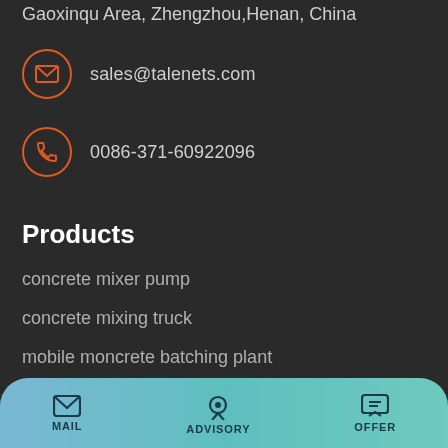Gaoxinqu Area, Zhengzhou, Henan, China
sales@talenets.com
0086-371-60922096
Products
concrete mixer pump
concrete mixing truck
mobile moncrete batching plant
self loading concrete mixer
Navigation
MAIL  ADVISORY  OFFER